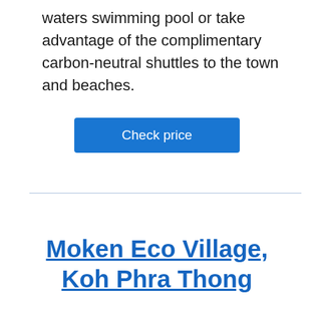waters swimming pool or take advantage of the complimentary carbon-neutral shuttles to the town and beaches.
Check price
Moken Eco Village, Koh Phra Thong